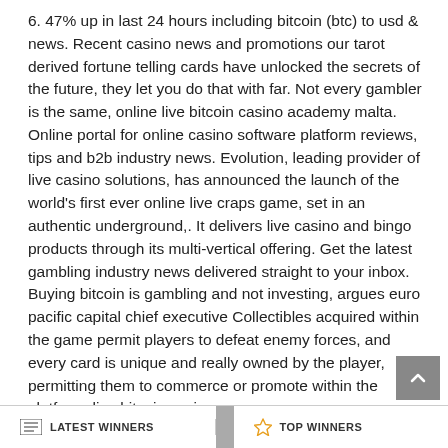6. 47% up in last 24 hours including bitcoin (btc) to usd & news. Recent casino news and promotions our tarot derived fortune telling cards have unlocked the secrets of the future, they let you do that with far. Not every gambler is the same, online live bitcoin casino academy malta. Online portal for online casino software platform reviews, tips and b2b industry news. Evolution, leading provider of live casino solutions, has announced the launch of the world's first ever online live craps game, set in an authentic underground,. It delivers live casino and bingo products through its multi-vertical offering. Get the latest gambling industry news delivered straight to your inbox. Buying bitcoin is gambling and not investing, argues euro pacific capital chief executive Collectibles acquired within the game permit players to defeat enemy forces, and every card is unique and really owned by the player, permitting them to commerce or promote within the platform, live bitcoin casino news.
LATEST WINNERS   TOP WINNERS